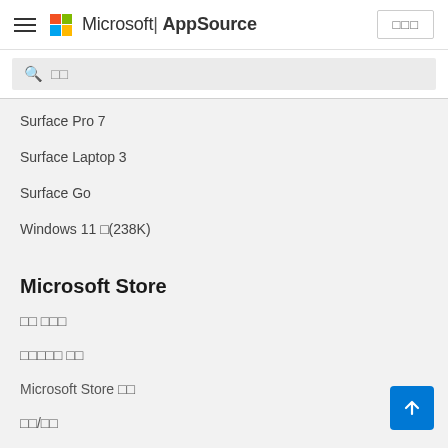Microsoft | AppSource
검색
Surface Pro 7
Surface Laptop 3
Surface Go
Windows 11 홈(238K)
Microsoft Store
계정 로그아웃
다운로드센터 주문
Microsoft Store 찾기
반품/환불
교육 할인